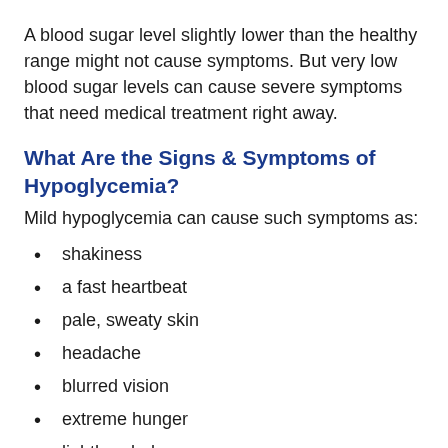A blood sugar level slightly lower than the healthy range might not cause symptoms. But very low blood sugar levels can cause severe symptoms that need medical treatment right away.
What Are the Signs & Symptoms of Hypoglycemia?
Mild hypoglycemia can cause such symptoms as:
shakiness
a fast heartbeat
pale, sweaty skin
headache
blurred vision
extreme hunger
lightheadedness
tiredness